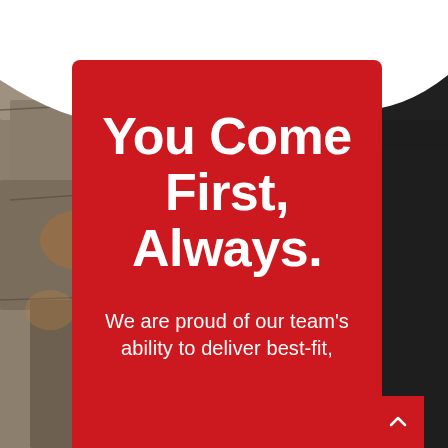[Figure (photo): Background photo showing stone/rock texture on left and a dark suit on the right, with a white wave shape overlaid at the top]
You Come First, Always.
We are proud of our team's ability to deliver best-fit,